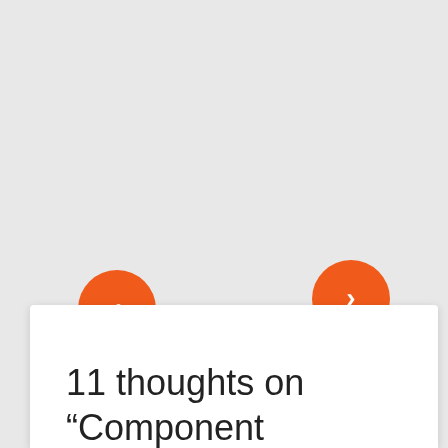[Figure (screenshot): UI carousel navigation with two orange circular arrow buttons (left chevron and right chevron) on a gray background]
11 thoughts on “Component Interfaces Explorations: Security”